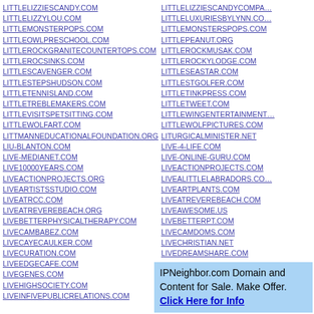LITTLELIZZIESCANDY.COM
LITTLELIZZYLOU.COM
LITTLEMONSTERPOPS.COM
LITTLEOWLPRESCHOOL.COM
LITTLEROCKGRANITECOUNTERTOPS.COM
LITTLEROCSINKS.COM
LITTLESCAVENGER.COM
LITTLESTEPSHUDSON.COM
LITTLETENNISLAND.COM
LITTLETREBLEMAKERS.COM
LITTLEVISITSPETSITTING.COM
LITTLEWOLFART.COM
LITTMANNEDUCATIONALFOUNDATION.ORG
LIU-BLANTON.COM
LIVE-MEDIANET.COM
LIVE10000YEARS.COM
LIVEACTIONPROJECTS.ORG
LIVEARTISTSSTUDIO.COM
LIVEATRCC.COM
LIVEATREVEREBEACH.ORG
LIVEBETTERPHYSICALTHERAPY.COM
LIVECAMBABEZ.COM
LIVECAYECAULKER.COM
LIVECURATION.COM
LIVEEDGECAFE.COM
LIVEGENES.COM
LIVEHIGHSOCIETY.COM
LIVEINFIVEPUBLICRELATIONS.COM
LITTLELIZZIESCANDYCOMPANY.COM
LITTLELUXURIESBYLYNN.COM
LITTLEMONSTERSPOPS.COM
LITTLEPEANUT.ORG
LITTLEROCKMUSAK.COM
LITTLEROCKYLODGE.COM
LITTLESEASTAR.COM
LITTLESTGOLFER.COM
LITTLETINKPRESS.COM
LITTLETWEET.COM
LITTLEWINGENTERTAINMENT
LITTLEWOLFPICTURES.COM
LITURGICALMINISTER.NET
LIVE-4-LIFE.COM
LIVE-ONLINE-GURU.COM
LIVEACTIONPROJECTS.COM
LIVEALITTLELABRADORS.COM
LIVEARTPLANTS.COM
LIVEATREVEREBEACH.COM
LIVEAWESOME.US
LIVEBETTERPT.COM
LIVECAMDOMS.COM
LIVECHRISTIAN.NET
LIVEDREAMSHARE.COM
IPNeighbor.com Domain and Content for Sale. Make Offer. Click Here for Info